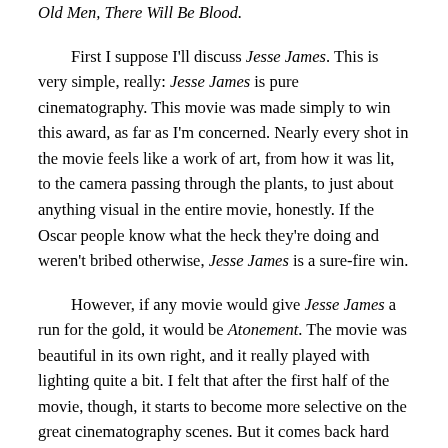Old Men, There Will Be Blood.
First I suppose I'll discuss Jesse James. This is very simple, really: Jesse James is pure cinematography. This movie was made simply to win this award, as far as I'm concerned. Nearly every shot in the movie feels like a work of art, from how it was lit, to the camera passing through the plants, to just about anything visual in the entire movie, honestly. If the Oscar people know what the heck they're doing and weren't bribed otherwise, Jesse James is a sure-fire win.
However, if any movie would give Jesse James a run for the gold, it would be Atonement. The movie was beautiful in its own right, and it really played with lighting quite a bit. I felt that after the first half of the movie, though, it starts to become more selective on the great cinematography scenes. But it comes back hard with the nearly five minute